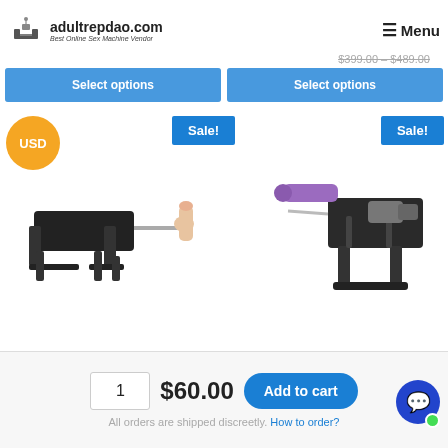adultrepdao.com — Best Online Sex Machine Vendor | Menu
$399.00 – $489.00
Select options | Select options
USD
Sale!
Sale!
[Figure (photo): Sex machine device on stands with dildo attachment, black mechanical frame]
[Figure (photo): Sex machine device with purple dildo attachment, black mechanical frame]
1  $60.00  Add to cart
All orders are shipped discreetly. How to order?